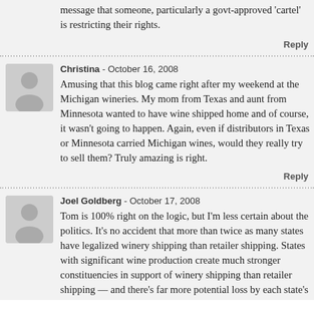message that someone, particularly a govt-approved 'cartel' is restricting their rights.
Reply
Christina - October 16, 2008
Amusing that this blog came right after my weekend at the Michigan wineries. My mom from Texas and aunt from Minnesota wanted to have wine shipped home and of course, it wasn't going to happen. Again, even if distributors in Texas or Minnesota carried Michigan wines, would they really try to sell them? Truly amazing is right.
Reply
Joel Goldberg - October 17, 2008
Tom is 100% right on the logic, but I'm less certain about the politics. It's no accident that more than twice as many states have legalized winery shipping than retailer shipping. States with significant wine production create much stronger constituencies in support of winery shipping than retailer shipping — and there's far more potential loss by each state's